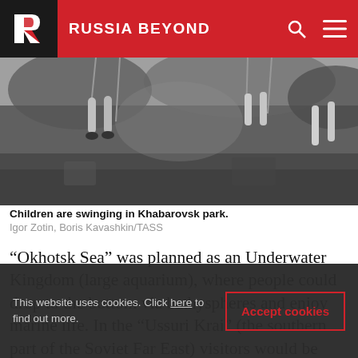RUSSIA BEYOND
[Figure (photo): Black and white photograph of children swinging in Khabarovsk park, showing legs of children on swings against a blurred background of trees]
Children are swinging in Khabarovsk park.
Igor Zotin, Boris Kavashkin/TASS
“Okhotsk Sea” was planned as an Underwater Kingdom (large aquarium), where people could drop to the bottom via bathyspheres and enjoy marine life. In the “Ussuri Krai” (the southern part of the Soviet Far East) visitors would be treated to a huge zoo.